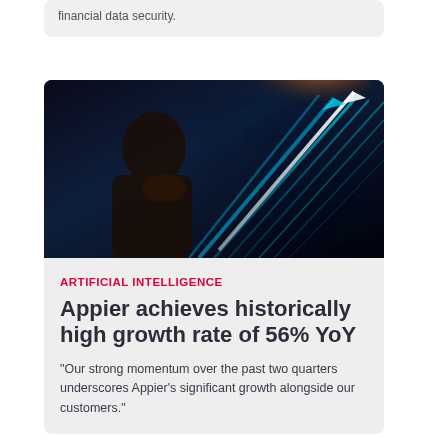financial data security.
[Figure (photo): A person in profile looking upward with glowing cyan/teal diagonal arrows pointing upward against a dark blue and black background, suggesting AI or technology themes.]
ARTIFICIAL INTELLIGENCE
Appier achieves historically high growth rate of 56% YoY
"Our strong momentum over the past two quarters underscores Appier's significant growth alongside our customers."